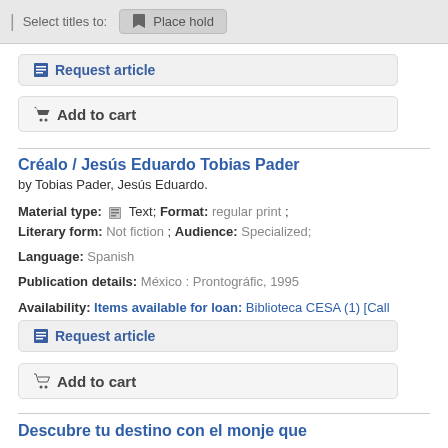Select titles to: | Place hold
Request article
Add to cart
Créalo / Jesús Eduardo Tobias Pader
by Tobias Pader, Jesús Eduardo.
Material type: Text; Format: regular print ; Literary form: Not fiction ; Audience: Specialized;
Language: Spanish
Publication details: México : Prontográfic, 1995
Availability: Items available for loan: Biblioteca CESA (1) [Call number: 158.2 / T629c].
Request article
Add to cart
Descubre tu destino con el monje que